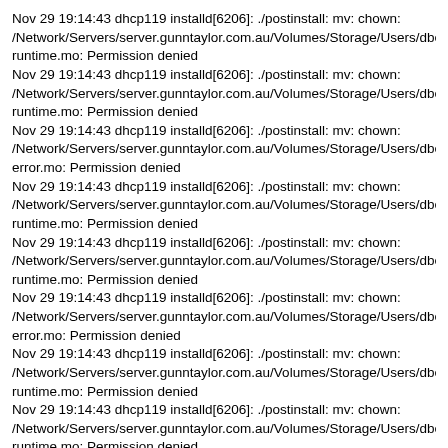Nov 29 19:14:43 dhcp119 installd[6206]: ./postinstall: mv: chown:
/Network/Servers/server.gunntaylor.com.au/Volumes/Storage/Users/dbell/Library/M
runtime.mo: Permission denied
Nov 29 19:14:43 dhcp119 installd[6206]: ./postinstall: mv: chown:
/Network/Servers/server.gunntaylor.com.au/Volumes/Storage/Users/dbell/Library/M
runtime.mo: Permission denied
Nov 29 19:14:43 dhcp119 installd[6206]: ./postinstall: mv: chown:
/Network/Servers/server.gunntaylor.com.au/Volumes/Storage/Users/dbell/Library/M
error.mo: Permission denied
Nov 29 19:14:43 dhcp119 installd[6206]: ./postinstall: mv: chown:
/Network/Servers/server.gunntaylor.com.au/Volumes/Storage/Users/dbell/Library/M
runtime.mo: Permission denied
Nov 29 19:14:43 dhcp119 installd[6206]: ./postinstall: mv: chown:
/Network/Servers/server.gunntaylor.com.au/Volumes/Storage/Users/dbell/Library/M
runtime.mo: Permission denied
Nov 29 19:14:43 dhcp119 installd[6206]: ./postinstall: mv: chown:
/Network/Servers/server.gunntaylor.com.au/Volumes/Storage/Users/dbell/Library/M
error.mo: Permission denied
Nov 29 19:14:43 dhcp119 installd[6206]: ./postinstall: mv: chown:
/Network/Servers/server.gunntaylor.com.au/Volumes/Storage/Users/dbell/Library/M
runtime.mo: Permission denied
Nov 29 19:14:43 dhcp119 installd[6206]: ./postinstall: mv: chown:
/Network/Servers/server.gunntaylor.com.au/Volumes/Storage/Users/dbell/Library/M
runtime.mo: Permission denied
Nov 29 19:14:43 dhcp119 installd[6206]: ./postinstall: mv: chown: